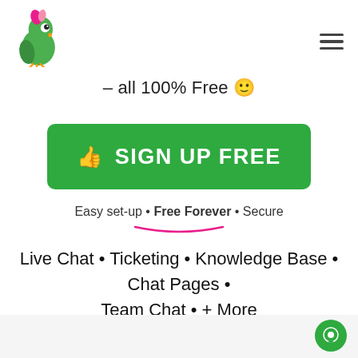[Figure (logo): Green parrot with pink crest logo in top left corner]
– all 100% Free 🙂
[Figure (other): Green rounded rectangle button with thumbs up icon and text SIGN UP FREE]
Easy set-up • Free Forever • Secure
Live Chat • Ticketing • Knowledge Base • Chat Pages • Team Chat • + More
[Figure (other): Green circular chat bubble icon in bottom right]